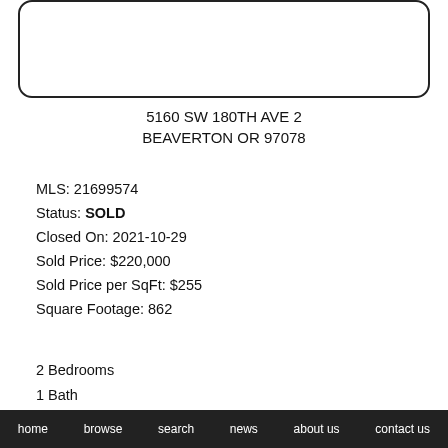[Figure (photo): Property photo placeholder — white box with rounded border]
5160 SW 180TH AVE 2
BEAVERTON OR 97078
MLS:  21699574
Status:  SOLD
Closed On:  2021-10-29
Sold Price:  $220,000
Sold Price per SqFt:  $255
Square Footage:  862
2 Bedrooms
1 Bath
home   browse   search   news   about us   contact us